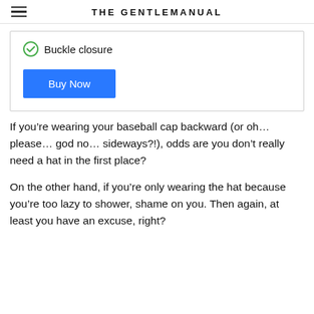THE GENTLEMANUAL
Buckle closure
Buy Now
If you’re wearing your baseball cap backward (or oh… please… god no… sideways?!), odds are you don’t really need a hat in the first place?
On the other hand, if you’re only wearing the hat because you’re too lazy to shower, shame on you. Then again, at least you have an excuse, right?